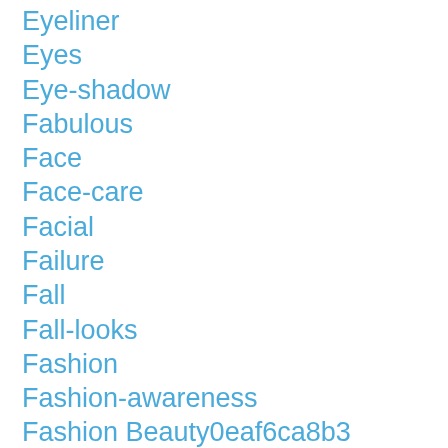Eyeliner
Eyes
Eye-shadow
Fabulous
Face
Face-care
Facial
Failure
Fall
Fall-looks
Fashion
Fashion-awareness
Fashion Beauty0eaf6ca8b3
Fashion-camps
Fashion Design
Fashion Designer
Fashion Marketing
Fashion-modeling
Fashion Models
Fashion Print
Fashion Show For Charity